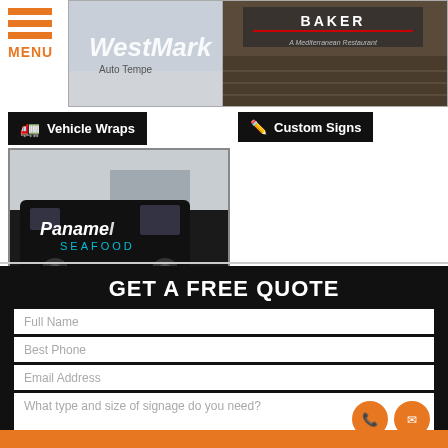[Figure (photo): WestMark sign store photo with illuminated sign letters]
[Figure (photo): Bakery restaurant dark stone exterior sign]
[Figure (screenshot): Vehicle Wraps button label with truck icon over Panamel Seafood van wrap photo]
[Figure (screenshot): Custom Signs button label with pencil icon]
GET A FREE QUOTE
Full Name
Best Phone
Email Address
What type and size of signage do you need?